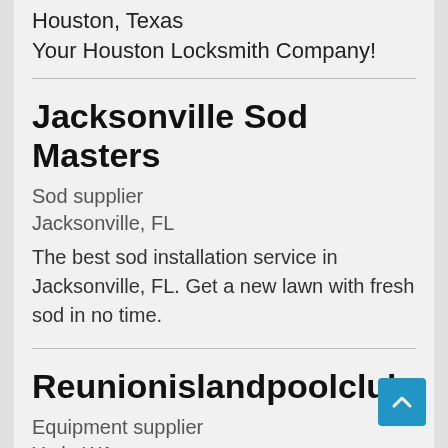Houston, Texas
Your Houston Locksmith Company!
Jacksonville Sod Masters
Sod supplier
Jacksonville, FL
The best sod installation service in Jacksonville, FL. Get a new lawn with fresh sod in no time.
Reunionislandpoolclub
Equipment supplier
York, WA
heavy equipment parts